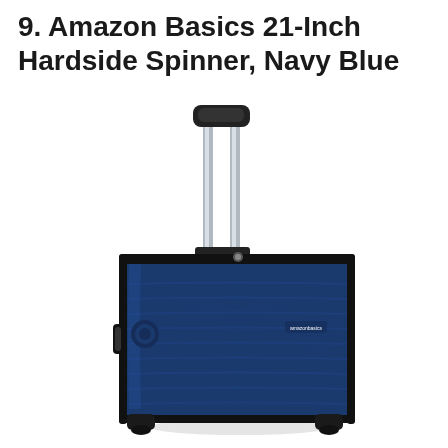9. Amazon Basics 21-Inch Hardside Spinner, Navy Blue
[Figure (photo): Amazon Basics 21-inch hardside spinner suitcase in navy blue color with extended silver telescoping handle, black zipper trim, horizontal ribbed texture, small circular lock on the side, and four spinner wheels at the bottom. The luggage is shown at a slight angle.]